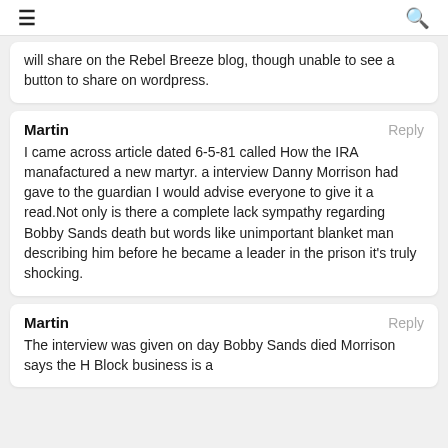≡  🔍
will share on the Rebel Breeze blog, though unable to see a button to share on wordpress.
Martin
Reply
I came across article dated 6-5-81 called How the IRA manafactured a new martyr. a interview Danny Morrison had gave to the guardian I would advise everyone to give it a read.Not only is there a complete lack sympathy regarding Bobby Sands death but words like unimportant blanket man describing him before he became a leader in the prison it's truly shocking.
Martin
Reply
The interview was given on day Bobby Sands died Morrison says the H Block business is a